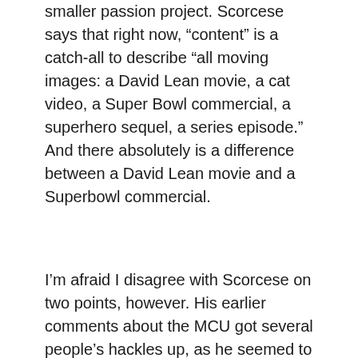smaller passion project. Scorcese says that right now, “content” is a catch-all to describe “all moving images: a David Lean movie, a cat video, a Super Bowl commercial, a superhero sequel, a series episode.” And there absolutely is a difference between a David Lean movie and a Superbowl commercial.
I’m afraid I disagree with Scorcese on two points, however. His earlier comments about the MCU got several people’s hackles up, as he seemed to suggest that since the MCU films weren’t “cinema”, that they were somehow a little….lesser-than, and not to be taken seriously. It’s possible he didn’t intend to leave that impression – but if he did, I couldn’t disagree more. Yes, superhero movies are big and flashy and special-effects-heavy, but the people writing for Marvel are saying some nuanced and complicated things in those films. The current WandaVision miniseries is